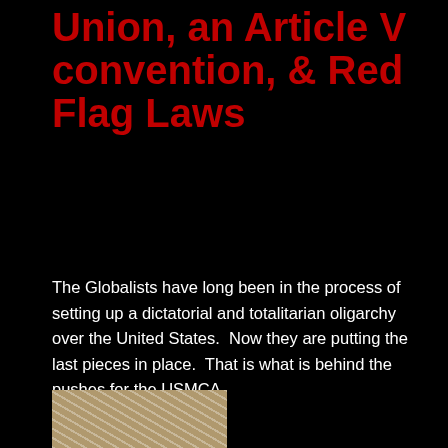Union, an Article V convention, & Red Flag Laws
The Globalists have long been in the process of setting up a dictatorial and totalitarian oligarchy over the United States.  Now they are putting the last pieces in place.  That is what is behind the pushes for the USMCA
DECEMBER 7, 2019 · COMMENTARY, FEATURED SLIDER
READ MORE ›
[Figure (photo): Partial image visible at bottom of page, appears to be a historical handwritten document or old paper with cursive text]